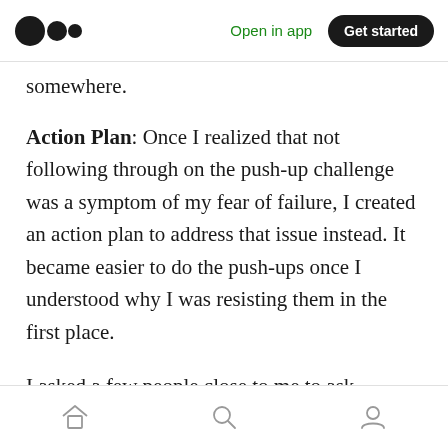[Figure (screenshot): Medium app navigation bar with logo, Open in app link, and Get started button]
somewhere.
Action Plan: Once I realized that not following through on the push-up challenge was a symptom of my fear of failure, I created an action plan to address that issue instead. It became easier to do the push-ups once I understood why I was resisting them in the first place.
I asked a few people close to me to ask themselves “why” five times about a specific problem they were facing in their lives:
[Figure (screenshot): Medium app bottom navigation bar with home, search, and profile icons]